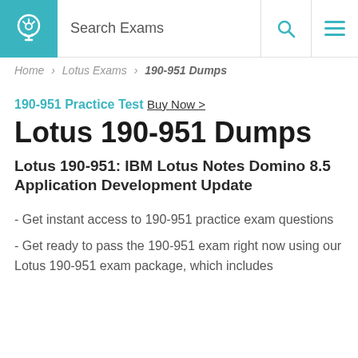[Figure (logo): Website logo with lightbulb icon on teal background and Search Exams text, with search and menu icons]
Home > Lotus Exams > 190-951 Dumps
190-951 Practice Test Buy Now >
Lotus 190-951 Dumps
Lotus 190-951: IBM Lotus Notes Domino 8.5 Application Development Update
- Get instant access to 190-951 practice exam questions
- Get ready to pass the 190-951 exam right now using our Lotus 190-951 exam package, which includes